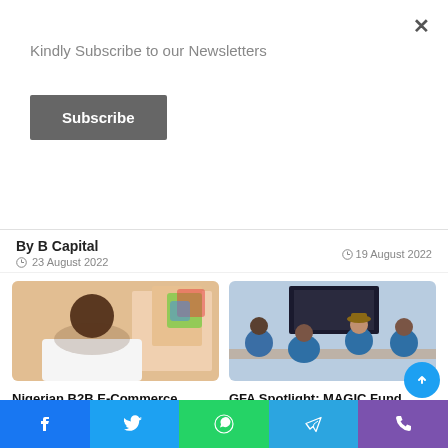Kindly Subscribe to our Newsletters
Subscribe
×
By B Capital
23 August 2022
19 August 2022
[Figure (photo): Man in white shirt sitting with arms crossed in an office with a colorful logo on the wall]
Nigerian B2B E-Commerce Platform Omnibiz Raises $15M in Pre-Series A Funding Round
19 August 2022
[Figure (photo): Group of people in blue shirts sitting around a conference table with a TV screen on the wall]
GFA Spotlight: MAGIC Fund
18 August 2022